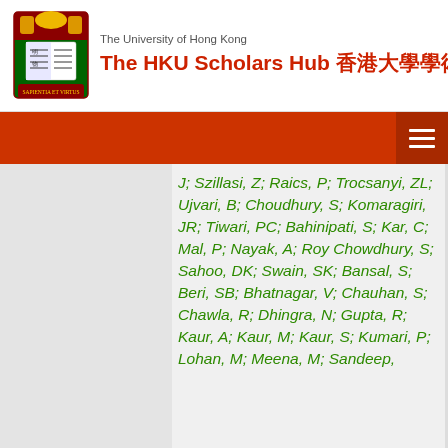The University of Hong Kong — The HKU Scholars Hub 香港大學學術庫
J; Szillasi, Z; Raics, P; Trocsanyi, ZL; Ujvari, B; Choudhury, S; Komaragiri, JR; Tiwari, PC; Bahinipati, S; Kar, C; Mal, P; Nayak, A; Roy Chowdhury, S; Sahoo, DK; Swain, SK; Bansal, S; Beri, SB; Bhatnagar, V; Chauhan, S; Chawla, R; Dhingra, N; Gupta, R; Kaur, A; Kaur, M; Kaur, S; Kumari, P; Lohan, M; Meena, M; Sandeep, N; Sharma, S; Singh...